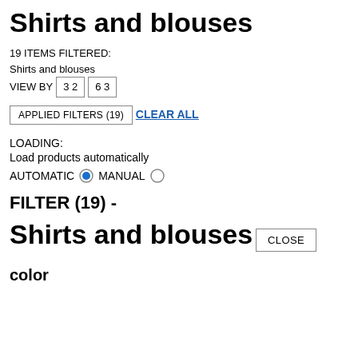Shirts and blouses
19 ITEMS FILTERED:
Shirts and blouses
VIEW BY  3 2  6 3
APPLIED FILTERS (19)
CLEAR ALL
LOADING:
Load products automatically
AUTOMATIC  MANUAL
FILTER (19)  -
Shirts and blouses
CLOSE
color